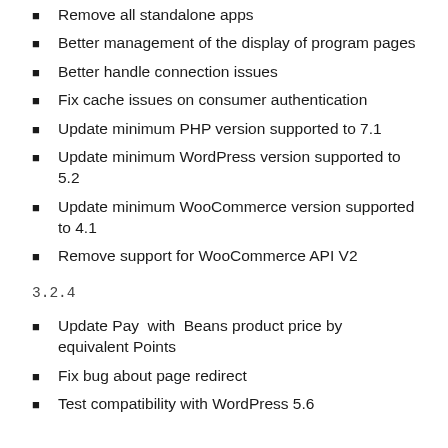Remove all standalone apps
Better management of the display of program pages
Better handle connection issues
Fix cache issues on consumer authentication
Update minimum PHP version supported to 7.1
Update minimum WordPress version supported to 5.2
Update minimum WooCommerce version supported to 4.1
Remove support for WooCommerce API V2
3.2.4
Update Pay with Beans product price by equivalent Points
Fix bug about page redirect
Test compatibility with WordPress 5.6